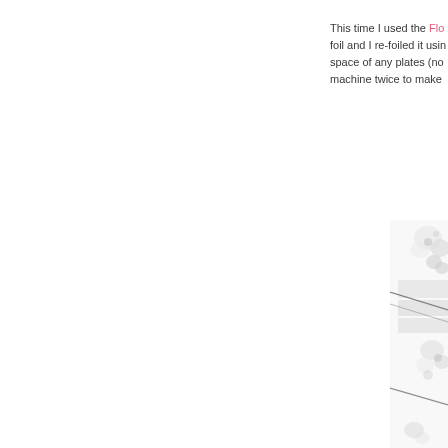This time I used the Flo... foil and I re-foiled it usin... space of any plates (no... machine twice to make...
[Figure (photo): Close-up photo of layered foiled plates or sheets with metallic/pearl beads, partially visible on the right side of the page, showing diagonal lines/needles across the layers.]